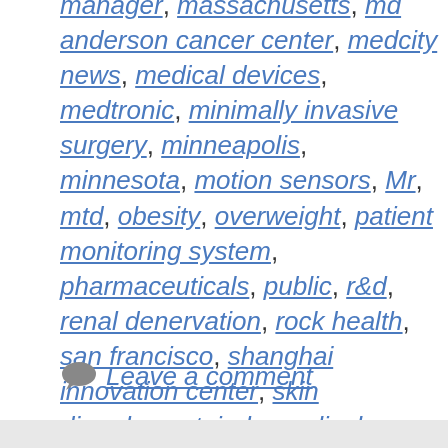manager, massachusetts, md anderson cancer center, medcity news, medical devices, medtronic, minimally invasive surgery, minneapolis, minnesota, motion sensors, Mr, mtd, obesity, overweight, patient monitoring system, pharmaceuticals, public, r&d, renal denervation, rock health, san francisco, shanghai innovation center, skin disorders, st. jude medical, startup advice, startup funding, startups, texas, twin cities, ulcerative colitis, washington, weight loss, wellness, wellpoint
Leave a comment